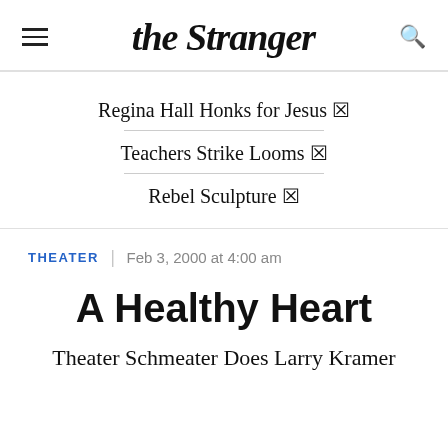the Stranger
Regina Hall Honks for Jesus 🔗
Teachers Strike Looms 🔗
Rebel Sculpture 🔗
THEATER | Feb 3, 2000 at 4:00 am
A Healthy Heart
Theater Schmeater Does Larry Kramer